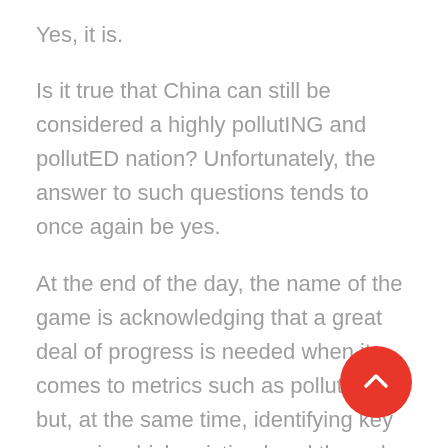Yes, it is.
Is it true that China can still be considered a highly pollutING and pollutED nation? Unfortunately, the answer to such questions tends to once again be yes.
At the end of the day, the name of the game is acknowledging that a great deal of progress is needed when it comes to metrics such as pollution but, at the same time, identifying key areas in which existing breakthroughs cannot and should not be ignored. With that in mind, here are just a few more recent ones:
[Figure (other): Red circular scroll-to-top button with a white upward chevron arrow]